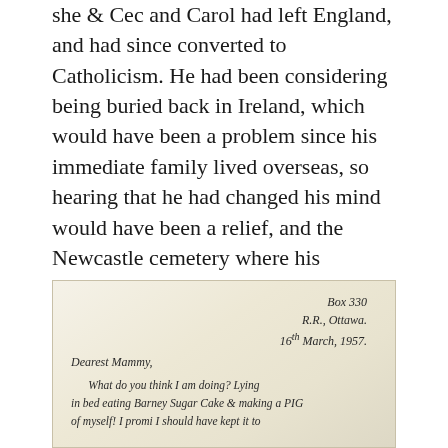she & Cec and Carol had left England, and had since converted to Catholicism. He had been considering being buried back in Ireland, which would have been a problem since his immediate family lived overseas, so hearing that he had changed his mind would have been a relief, and the Newcastle cemetery where his neighbour Mr. Sheedy lay more familiar to them.
[Figure (photo): A handwritten letter on aged paper. The address reads 'Box 330, R.R., Ottawa, 16th March, 1957.' Salutation: 'Dearest Mammy,' followed by handwritten text beginning 'What do you think I am doing? Lying in bed eating Barney Sugar Cake & making a PIG of myself! I promi I should have kept it to']